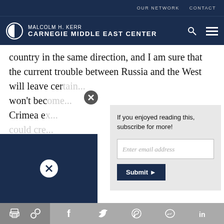OUR NETWORK   CONTACT
[Figure (logo): Malcolm H. Kerr Carnegie Middle East Center logo with search and menu icons]
country in the same direction, and I am sure that the current trouble between Russia and the West will leave cer[tain] ... [Russia-related] Bah[rain] won't bec[ome] ... Crimea e[...] could cre[...]
If you enjoyed reading this, subscribe for more!
[Figure (screenshot): Email subscription form with Enter email address input and Submit button]
[Figure (infographic): Bottom toolbar with print, link, Facebook, Twitter, WhatsApp, Messenger, LinkedIn icons]